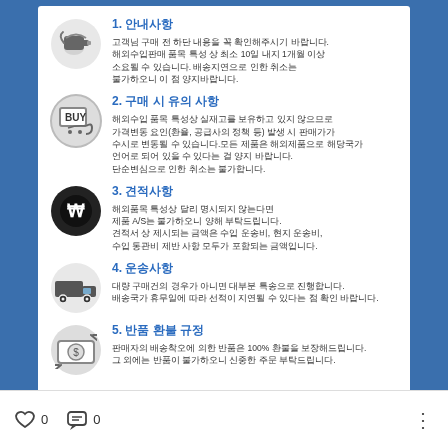1. 안내사항
고객님 구매 전 하단 내용을 꼭 확인해주시기 바랍니다.
해외수입판매 품목 특성 상 최소 10일 내지 1개월 이상
소요될 수 있습니다. 배송지연으로 인한 취소는
불가하오니 이 점 양지바랍니다.
2. 구매 시 유의 사항
해외수입 품목 특성상 실재고를 보유하고 있지 않으므로
가격변동 요인(환율, 공급사의 정책 등) 발생 시 판매가가
수시로 변동될 수 있습니다.모든 제품은 해외제품으로 해당국가
언어로 되어 있을 수 있다는 걸 양지 바랍니다.
단순변심으로 인한 취소는 불가합니다.
3. 견적사항
해외품목 특성상 달리 명시되지 않는다면
제품 A/S는 불가하오니 양해 부탁드립니다.
견적서 상 제시되는 금액은 수입 운송비, 현지 운송비,
수입 통관비 제반 사항 모두가 포함되는 금액입니다.
4. 운송사항
대량 구매건의 경우가 아니면 대부분 특송으로 진행합니다.
배송국가 휴무일에 따라 선적이 지연될 수 있다는 점 확인 바랍니다.
5. 반품 환불 규정
판매자의 배송착오에 의한 반품은 100% 환불을 보장해드립니다.
그 외에는 반품이 불가하오니 신중한 주문 부탁드립니다.
[Figure (logo): Circular logo with globe/swoosh design in blue and red]
0   0